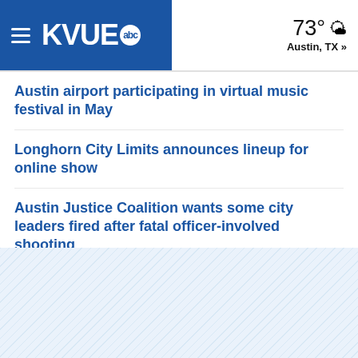KVUE abc | 73° Austin, TX »
Austin airport participating in virtual music festival in May
Longhorn City Limits announces lineup for online show
Austin Justice Coalition wants some city leaders fired after fatal officer-involved shooting
Texas 'stay home' order will expire April 30, Gov. Abbott says
Retail stores, movie theaters, restaurants and malls able to reopen May 1, Gov. Abbott says